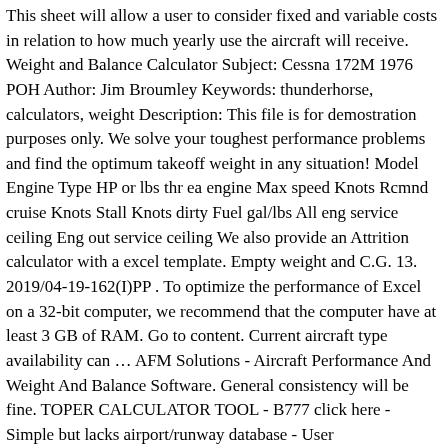This sheet will allow a user to consider fixed and variable costs in relation to how much yearly use the aircraft will receive. Weight and Balance Calculator Subject: Cessna 172M 1976 POH Author: Jim Broumley Keywords: thunderhorse, calculators, weight Description: This file is for demostration purposes only. We solve your toughest performance problems and find the optimum takeoff weight in any situation! Model Engine Type HP or lbs thr ea engine Max speed Knots Rcmnd cruise Knots Stall Knots dirty Fuel gal/lbs All eng service ceiling Eng out service ceiling We also provide an Attrition calculator with a excel template. Empty weight and C.G. 13. 2019/04-19-162(I)PP . To optimize the performance of Excel on a 32-bit computer, we recommend that the computer have at least 3 GB of RAM. Go to content. Current aircraft type availability can … AFM Solutions - Aircraft Performance And Weight And Balance Software. General consistency will be fine. TOPER CALCULATOR TOOL - B777 click here - Simple but lacks airport/runway database - User